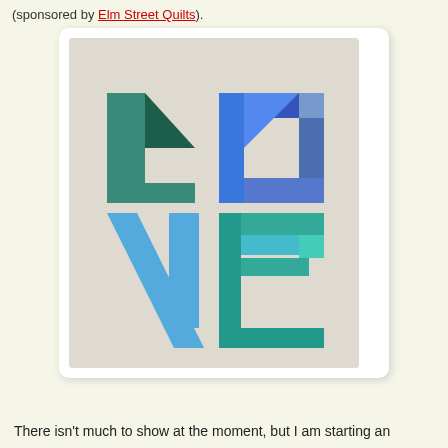(sponsored by Elm Street Quilts).
[Figure (photo): A fabric quilt block spelling out 'LOVE' in a 2x2 grid layout, using blue, teal, and green fabric pieces on a white/cream background. The letters L and O are in the top row, V and E in the bottom row, made from patchwork fabric pieces.]
There isn't much to show at the moment, but I am starting an